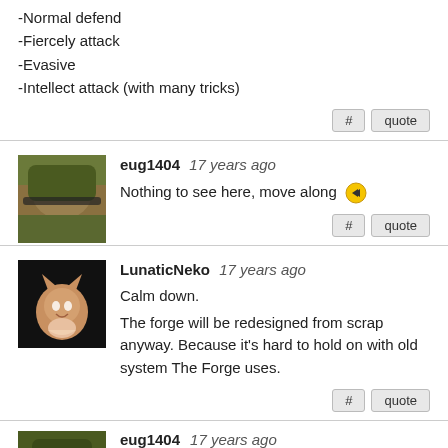-Normal defend
-Fiercely attack
-Evasive
-Intellect attack (with many tricks)
eug1404  17 years ago
Nothing to see here, move along [arrow emoji]
LunaticNeko  17 years ago
Calm down.

The forge will be redesigned from scrap anyway. Because it's hard to hold on with old system The Forge uses.
eug1404  17 years ago